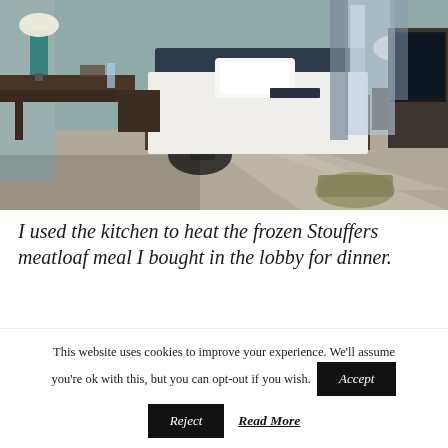[Figure (photo): Hotel room interior with a neatly made bed with white linens, dark wooden headboard, desk with chair, teal walls, lamps on nightstands, window with natural light, dresser with TV on right, and luggage on floor.]
I used the kitchen to heat the frozen Stouffers meatloaf meal I bought in the lobby for dinner.
This website uses cookies to improve your experience. We'll assume you're ok with this, but you can opt-out if you wish.
Accept
Reject
Read More